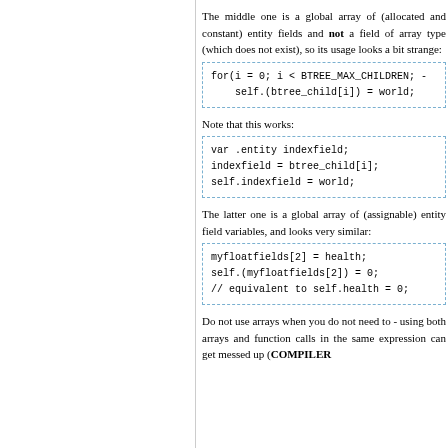The middle one is a global array of (allocated and constant) entity fields and not a field of array type (which does not exist), so its usage looks a bit strange:
[Figure (screenshot): Code block: for(i = 0; i < BTREE_MAX_CHILDREN; -     self.(btree_child[i]) = world;]
Note that this works:
[Figure (screenshot): Code block: var .entity indexfield;     indexfield = btree_child[i];     self.indexfield = world;]
The latter one is a global array of (assignable) entity field variables, and looks very similar:
[Figure (screenshot): Code block: myfloatfields[2] = health;     self.(myfloatfields[2]) = 0;     // equivalent to self.health = 0;]
Do not use arrays when you do not need to - using both arrays and function calls in the same expression can get messed up (COMPILER